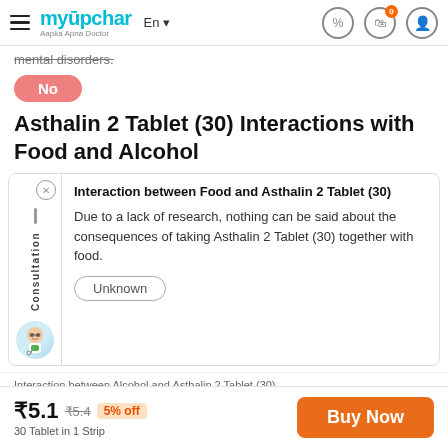myUpchar — Aapka Apna Doctor
mental disorders.
No
Asthalin 2 Tablet (30) Interactions with Food and Alcohol
Interaction between Food and Asthalin 2 Tablet (30)
Due to a lack of research, nothing can be said about the consequences of taking Asthalin 2 Tablet (30) together with food.
Unknown
Interaction between Alcohol and Asthalin 2 Tablet (30)
₹5.1  ₹5.4  5% off
30 Tablet in 1 Strip